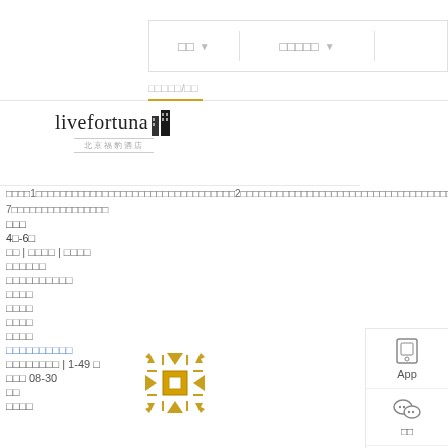□□ ▼ | □□□□□ ▼
□□□□□/□□
[Figure (logo): livefortuna hotel logo with decorative building icon and Chinese subtitle]
□□□□1□□□□□□□□□□□□□□□□□□□□□□□□□□□□□□□□□2□□□□□□□□□□□□□□□□□□□□□□□□□□□□□□□□□□□□□□□3□□□□□□□6□□□□□□□□□□□□□□□□□□□□□□□□□□□□□□ 7□□□□□□□□□□□□□□□□
□□□
4□-6□
□□ | □□□□ | □□□□
□□□□□□
□□□□□□□□□□
□□□□
□□□□
□□□□
□□□□
□□□□□□□□□□
□□□□□□□□ | 1-49 □
□□□ 08-30
□□
□□□□
[Figure (logo): Gold ornamental cross/flower pattern logo]
[Figure (infographic): Sidebar with App download icon, WeChat icon, and customer service icon]